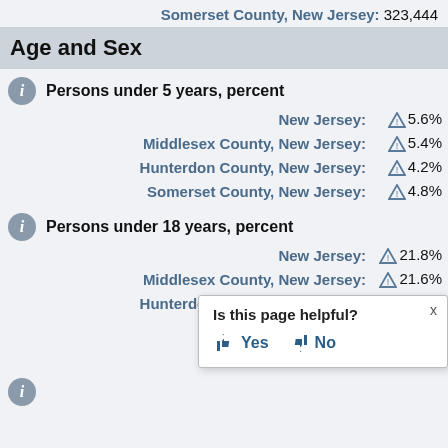Somerset County, New Jersey: 323,444
Age and Sex
Persons under 5 years, percent
| Region | Value |
| --- | --- |
| New Jersey: | 5.6% |
| Middlesex County, New Jersey: | 5.4% |
| Hunterdon County, New Jersey: | 4.2% |
| Somerset County, New Jersey: | 4.8% |
Persons under 18 years, percent
| Region | Value |
| --- | --- |
| New Jersey: | 21.8% |
| Middlesex County, New Jersey: | 21.6% |
| Hunterdon County, New Jersey: | 18.8% |
| Somerset County, Ne... |  |
Is this page helpful?
Yes  No